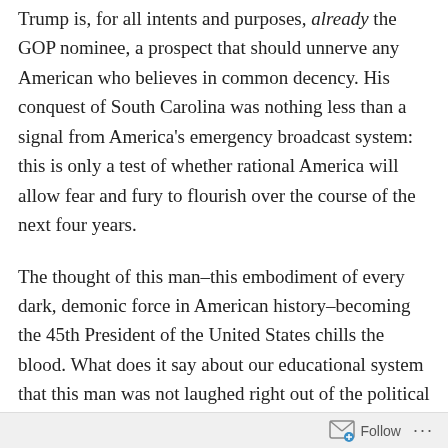Trump is, for all intents and purposes, already the GOP nominee, a prospect that should unnerve any American who believes in common decency. His conquest of South Carolina was nothing less than a signal from America's emergency broadcast system: this is only a test of whether rational America will allow fear and fury to flourish over the course of the next four years.
The thought of this man–this embodiment of every dark, demonic force in American history–becoming the 45th President of the United States chills the blood. What does it say about our educational system that this man was not laughed right out of the political system the moment he announced his candidacy?
He talks about what Mexico allegedly sends to the United
Follow